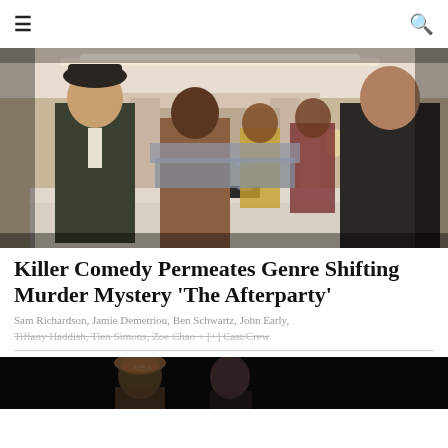☰  🔍
[Figure (photo): Scene from 'The Afterparty' showing cast members standing at a dinner table in an elegant room, including Sam Richardson and Ben Schwartz.]
Killer Comedy Permeates Genre Shifting Murder Mystery 'The Afterparty'
Sam Richardson, Jamie Demetriou, Ben Schwartz, John Early, Tiffany Haddish, Tien Simons, Zoe Chao + [+] Cast/Crew
[Figure (photo): Bottom partial image, dark background showing figures, partially visible.]